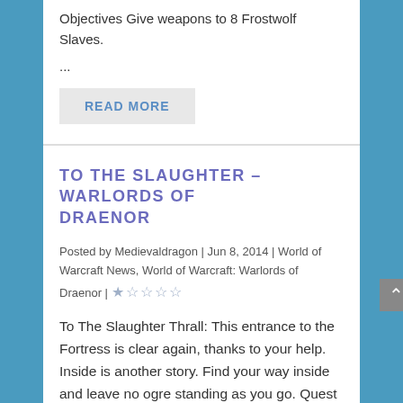Objectives Give weapons to 8 Frostwolf Slaves.
...
READ MORE
TO THE SLAUGHTER – WARLORDS OF DRAENOR
Posted by Medievaldragon | Jun 8, 2014 | World of Warcraft News, World of Warcraft: Warlords of Draenor | ★☆☆☆☆
To The Slaughter Thrall: This entrance to the Fortress is clear again, thanks to your help. Inside is another story. Find your way inside and leave no ogre standing as you go. Quest Objectives Kill 10 ogres in Bladespire…
READ MORE